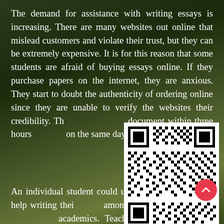The demand for assistance with writing essays is increasing. There are many websites out online that mislead customers and violate their trust, but they can be extremely expensive. It is for this reason that some students are afraid of buying essays online. If they purchase papers on the internet, they are anxious. They start to doubt the authenticity of ordering online since they are unable to verify the websites their credibility. Th... document within three hours... on the same day.
[Figure (other): QR code image in the lower right area of the page, overlapping the text paragraphs.]
An individual student could u... writing for help writing thei... among the numerous writing... academics. Teachers assign h... students are forced to spend... similar pieces. Additionally, the impression that of a site's appearance is vital. Be sure to select an online site that is simple to navigate and offers the option of